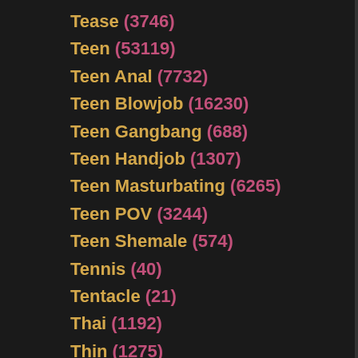Tease (3746)
Teen (53119)
Teen Anal (7732)
Teen Blowjob (16230)
Teen Gangbang (688)
Teen Handjob (1307)
Teen Masturbating (6265)
Teen POV (3244)
Teen Shemale (574)
Tennis (40)
Tentacle (21)
Thai (1192)
Thin (1275)
Thong (472)
Threesome (15442)